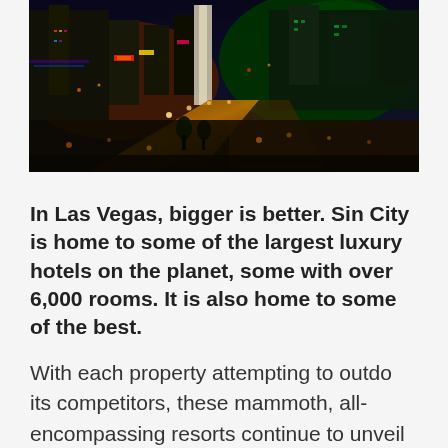[Figure (photo): Aerial night view of the Las Vegas Strip showing illuminated casinos, hotels, and streets with colorful lights]
In Las Vegas, bigger is better. Sin City is home to some of the largest luxury hotels on the planet, some with over 6,000 rooms. It is also home to some of the best.
With each property attempting to outdo its competitors, these mammoth, all-encompassing resorts continue to unveil ever-more extravagant attractions and gimmicks. However, the luxury